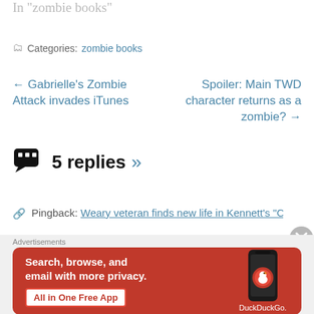In "zombie books"
Categories: zombie books
← Gabrielle's Zombie Attack invades iTunes
Spoiler: Main TWD character returns as a zombie? →
5 replies »
Pingback: Weary veteran finds new life in Kennett's "CO...
[Figure (other): DuckDuckGo advertisement banner: Search, browse, and email with more privacy. All in One Free App. DuckDuckGo logo on a phone.]